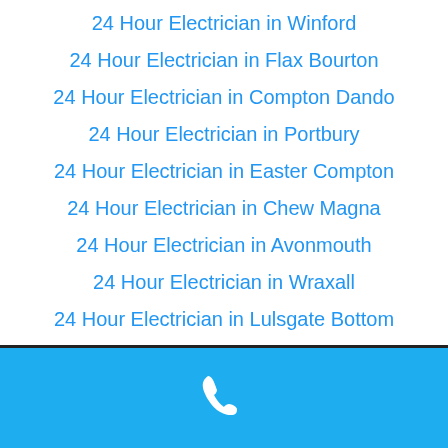24 Hour Electrician in Winford
24 Hour Electrician in Flax Bourton
24 Hour Electrician in Compton Dando
24 Hour Electrician in Portbury
24 Hour Electrician in Easter Compton
24 Hour Electrician in Chew Magna
24 Hour Electrician in Avonmouth
24 Hour Electrician in Wraxall
24 Hour Electrician in Lulsgate Bottom
24 Hour Electrician in Chelwood
[Figure (infographic): Blue footer bar with white telephone handset icon]